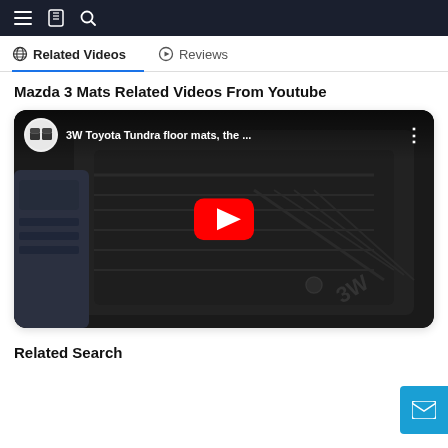Navigation bar with menu, bookmark, and search icons
Related Videos   Reviews
Mazda 3 Mats Related Videos From Youtube
[Figure (screenshot): YouTube video thumbnail showing 3W Toyota Tundra floor mats with play button overlay]
Related Search